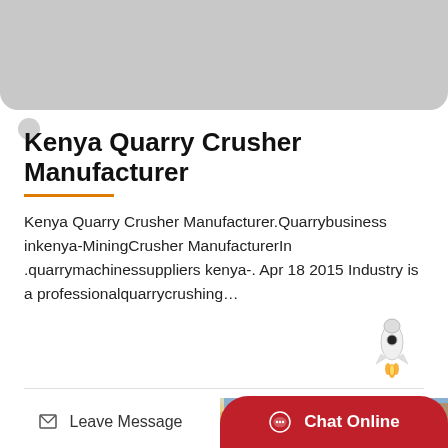[Figure (photo): Gray rounded rectangle banner image at top of page]
Kenya Quarry Crusher Manufacturer
Kenya Quarry Crusher Manufacturer.Quarrybusiness inkenya-MiningCrusher ManufacturerIn .quarrymachinessuppliers kenya-. Apr 18 2015 Industry is a professionalquarrycrushing…
[Figure (illustration): Rocket emoji icon]
[Figure (photo): Building/industrial site photo at bottom of page]
Leave Message
Chat Online